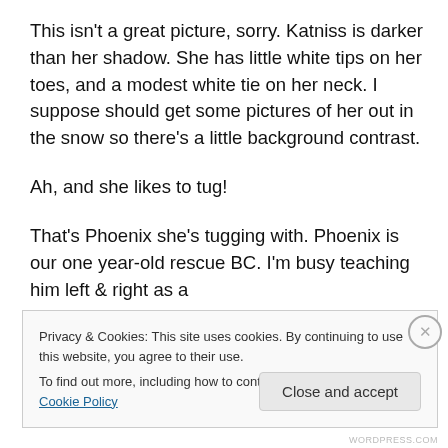This isn't a great picture, sorry. Katniss is darker than her shadow. She has little white tips on her toes, and a modest white tie on her neck. I suppose should get some pictures of her out in the snow so there's a little background contrast.
Ah, and she likes to tug!
That's Phoenix she's tugging with. Phoenix is our one year-old rescue BC. I'm busy teaching him left & right as a
Privacy & Cookies: This site uses cookies. By continuing to use this website, you agree to their use.
To find out more, including how to control cookies, see here: Cookie Policy